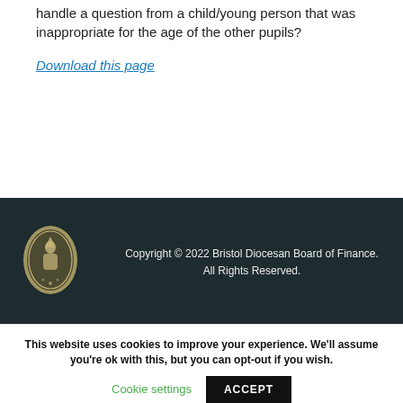handle a question from a child/young person that was inappropriate for the age of the other pupils?
Download this page
Copyright © 2022 Bristol Diocesan Board of Finance. All Rights Reserved.
This website uses cookies to improve your experience. We'll assume you're ok with this, but you can opt-out if you wish.
Cookie settings  ACCEPT